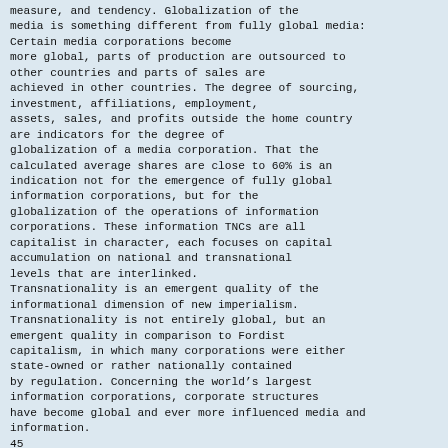measure, and tendency. Globalization of the media is something different from fully global media: Certain media corporations become more global, parts of production are outsourced to other countries and parts of sales are achieved in other countries. The degree of sourcing, investment, affiliations, employment, assets, sales, and profits outside the home country are indicators for the degree of globalization of a media corporation. That the calculated average shares are close to 60% is an indication not for the emergence of fully global information corporations, but for the globalization of the operations of information corporations. These information TNCs are all capitalist in character, each focuses on capital accumulation on national and transnational levels that are interlinked.
Transnationality is an emergent quality of the informational dimension of new imperialism. Transnationality is not entirely global, but an emergent quality in comparison to Fordist capitalism, in which many corporations were either state-owned or rather nationally contained by regulation. Concerning the world’s largest information corporations, corporate structures have become global and ever more influenced media and information.
45
Media globalization then means that corporatism – the structuration of media organizations according to the logic of capital accumulation and profit maximization – has expanded its